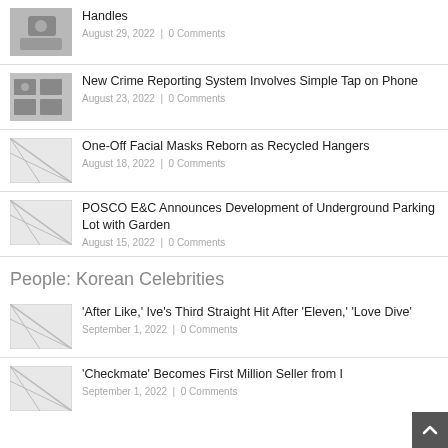[Figure (photo): Thumbnail photo of person with food/bowl]
Handles
August 29, 2022 | 0 Comments
[Figure (photo): Thumbnail photo of person at computer desk]
New Crime Reporting System Involves Simple Tap on Phone
August 23, 2022 | 0 Comments
[Figure (photo): Placeholder thumbnail image with diagonal lines]
One-Off Facial Masks Reborn as Recycled Hangers
August 18, 2022 | 0 Comments
[Figure (photo): Placeholder thumbnail image with diagonal lines]
POSCO E&C Announces Development of Underground Parking Lot with Garden
August 15, 2022 | 0 Comments
People: Korean Celebrities
[Figure (photo): Placeholder thumbnail image with diagonal lines]
‘After Like,’ Ive’s Third Straight Hit After ‘Eleven,’ ‘Love Dive’
September 1, 2022 | 0 Comments
[Figure (photo): Placeholder thumbnail image with diagonal lines]
‘Checkmate’ Becomes First Million Seller from I...
September 1, 2022 | 0 Comments